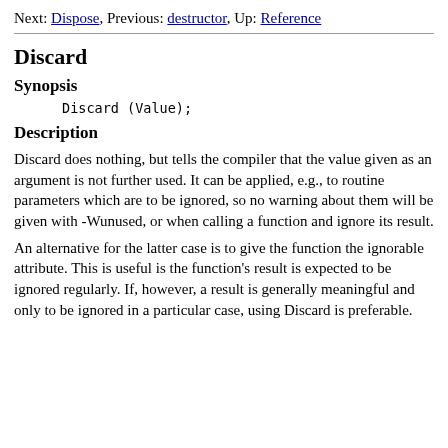Next: Dispose, Previous: destructor, Up: Reference
Discard
Synopsis
Discard (Value);
Description
Discard does nothing, but tells the compiler that the value given as an argument is not further used. It can be applied, e.g., to routine parameters which are to be ignored, so no warning about them will be given with -Wunused, or when calling a function and ignore its result.
An alternative for the latter case is to give the function the ignorable attribute. This is useful is the function's result is expected to be ignored regularly. If, however, a result is generally meaningful and only to be ignored in a particular case, using Discard is preferable.